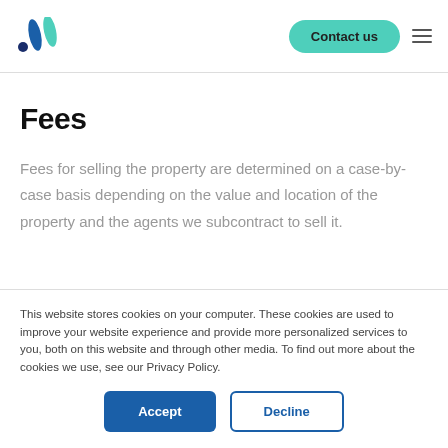Contact us
Fees
Fees for selling the property are determined on a case-by-case basis depending on the value and location of the property and the agents we subcontract to sell it.
This website stores cookies on your computer. These cookies are used to improve your website experience and provide more personalized services to you, both on this website and through other media. To find out more about the cookies we use, see our Privacy Policy.